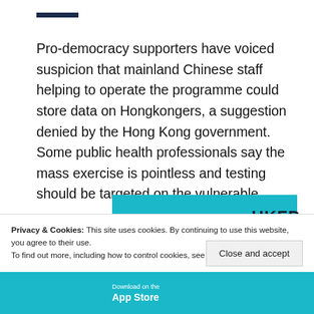—
Pro-democracy supporters have voiced suspicion that mainland Chinese staff helping to operate the programme could store data on Hongkongers, a suggestion denied by the Hong Kong government. Some public health professionals say the mass exercise is pointless and testing should be targeted on the vulnerable.
[Figure (screenshot): Teal banner with HKFP logo partially visible]
Privacy & Cookies: This site uses cookies. By continuing to use this website, you agree to their use.
To find out more, including how to control cookies, see here: Cookie Policy
Close and accept
[Figure (screenshot): App Store download strip at the bottom]